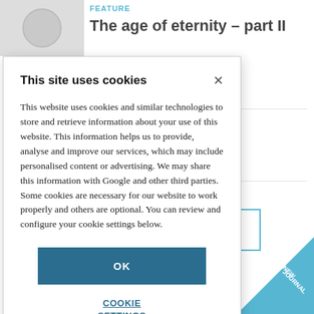FEATURE
The age of eternity – part II
This site uses cookies
This website uses cookies and similar technologies to store and retrieve information about your use of this website. This information helps us to provide, analyse and improve our services, which may include personalised content or advertising. We may share this information with Google and other third parties. Some cookies are necessary for our website to work properly and others are optional. You can review and configure your cookie settings below.
OK
COOKIE SETTINGS